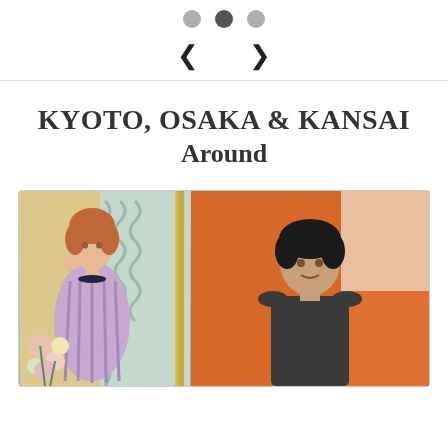[Figure (infographic): Navigation dots (3 circles, middle one active/dark) and left/right arrow navigation buttons on white background]
KYOTO, OSAKA & KANSAI Around
[Figure (photo): Two photos side by side: left shows a Matisse-style painting of a woman in a purple robe with flowers, right shows a person standing in front of an orange wall]